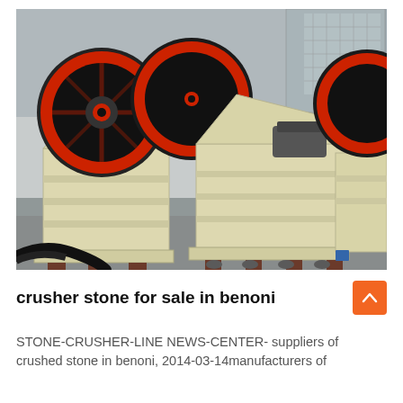[Figure (photo): Industrial jaw crusher machines with large red-rimmed black flywheels, cream/beige colored body, arranged in a factory or outdoor storage yard. Multiple units visible side by side.]
crusher stone for sale in benoni
STONE-CRUSHER-LINE NEWS-CENTER- suppliers of crushed stone in benoni, 2014-03-14manufacturers of